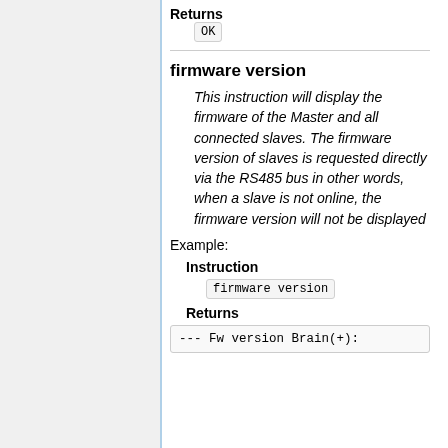Returns
OK
firmware version
This instruction will display the firmware of the Master and all connected slaves. The firmware version of slaves is requested directly via the RS485 bus in other words, when a slave is not online, the firmware version will not be displayed
Example:
Instruction
firmware version
Returns
--- Fw version Brain(+):